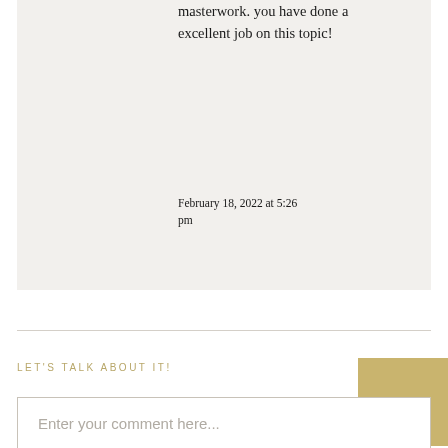masterwork. you have done a excellent job on this topic!
February 18, 2022 at 5:26 pm
LET'S TALK ABOUT IT!
Enter your comment here...